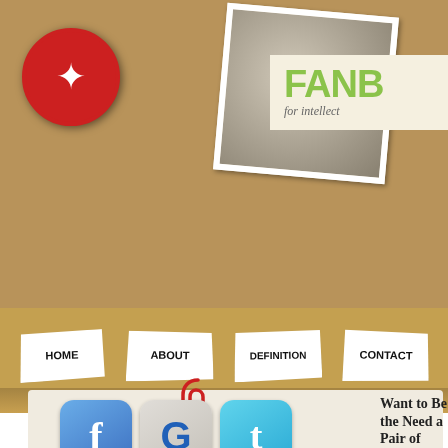[Figure (screenshot): Fanboyism website screenshot showing scrapbook-style header with Star Wars rebel logo, vintage sci-fi photos, navigation menu (HOME, ABOUT, DEFINITION, CONTACT), social media icons (Facebook, Google+, Twitter), category links (Star Wars, Star Trek), and article title 'Want to Be the... Need a Pair of...']
FANB
for intellect
HOME
ABOUT
DEFINITION
CONTACT
[Figure (logo): Facebook icon - blue rounded square with white f]
[Figure (logo): Google+ icon - gray rounded square with blue G]
[Figure (logo): Twitter icon - blue rounded square with white t]
Star Wars
Star Trek
Want to Be the Need a Pair of
Posted by Tim Sheehy on Jun 19
Subscribe